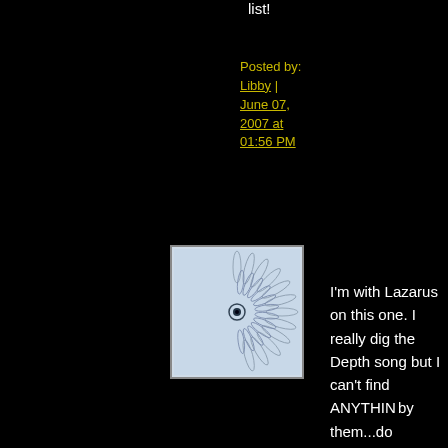list!
Posted by: Libby | June 07, 2007 at 01:56 PM
[Figure (photo): Avatar image showing a spirograph/geometric circular pattern on light blue background]
I'm with Lazarus on this one. I really dig the Depth song but I can't find ANYTHING by them...do anybody know album titles or